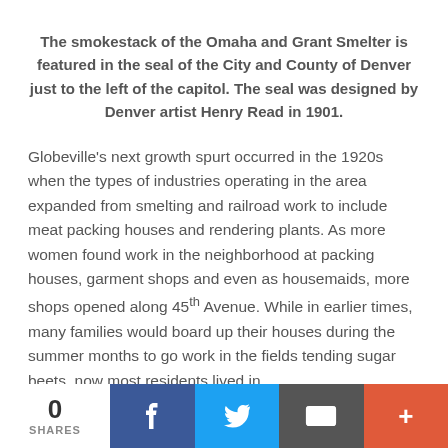The smokestack of the Omaha and Grant Smelter is featured in the seal of the City and County of Denver just to the left of the capitol. The seal was designed by Denver artist Henry Read in 1901.
Globeville's next growth spurt occurred in the 1920s when the types of industries operating in the area expanded from smelting and railroad work to include meat packing houses and rendering plants. As more women found work in the neighborhood at packing houses, garment shops and even as housemaids, more shops opened along 45th Avenue. While in earlier times, many families would board up their houses during the summer months to go work in the fields tending sugar beets, now most residents lived in
0 SHARES | Facebook | Twitter | Email | +